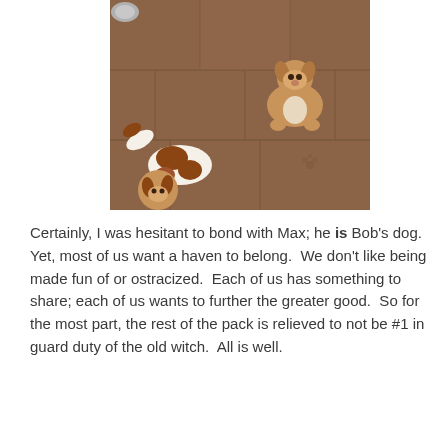[Figure (photo): Overhead photo of two dogs on a wood-look tile floor. One dog is brown-and-white with spots, lying with its back toward the camera at lower left. The other dog is tan/fawn colored, sitting upright and looking up at the camera at upper right.]
Certainly, I was hesitant to bond with Max; he is Bob's dog.  Yet, most of us want a haven to belong.  We don't like being made fun of or ostracized.  Each of us has something to share; each of us wants to further the greater good.  So for the most part, the rest of the pack is relieved to not be #1 in guard duty of the old witch.  All is well.